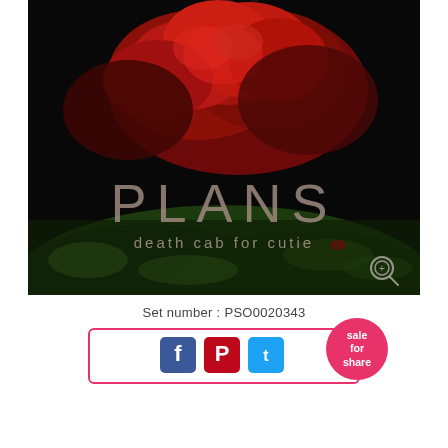[Figure (photo): Album cover for 'Plans' by Death Cab for Cutie. Dark background with large red foliage/explosion in upper portion and green ground cover at bottom. Text overlay reads 'PLANS' in large letters and 'death cab for cutie' below. Magnifying glass icon in lower right corner.]
Set number : PSO0020343
[Figure (infographic): Social sharing bar with Facebook, Pinterest, and Twitter icons inside a pink-bordered rectangle, with a pink circular 'sale for share' badge overlapping the right side.]